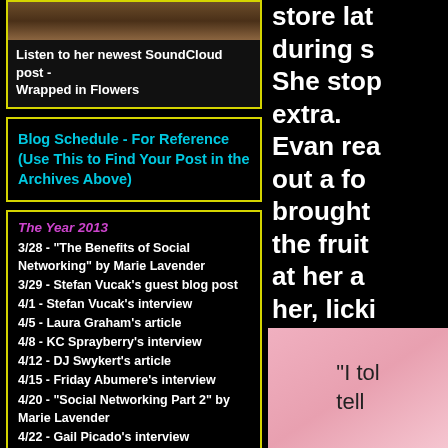[Figure (photo): Dark brownish photo at top of left column]
Listen to her newest SoundCloud post - Wrapped in Flowers
Blog Schedule - For Reference (Use This to Find Your Post in the Archives Above)
The Year 2013
3/28 - "The Benefits of Social Networking" by Marie Lavender
3/29 - Stefan Vucak's guest blog post
4/1 - Stefan Vucak's interview
4/5 - Laura Graham's article
4/8 - KC Sprayberry's interview
4/12 - DJ Swykert's article
4/15 - Friday Abumere's interview
4/20 - "Social Networking Part 2" by Marie Lavender
4/22 - Gail Picado's interview
4/26 - Olga Sonia Dávila's review of Jaime Martínez-Tolentino's book The Other Island
4/29 - Laura Graham's interview
5/3 - "When Does Reality Affect
store lat
during s
She stop
extra.
Evan rea
out a fo
brought
the fruit
at her a
her, lick
Her mou
[Figure (photo): Pink image with handwritten text 'I tol tell']